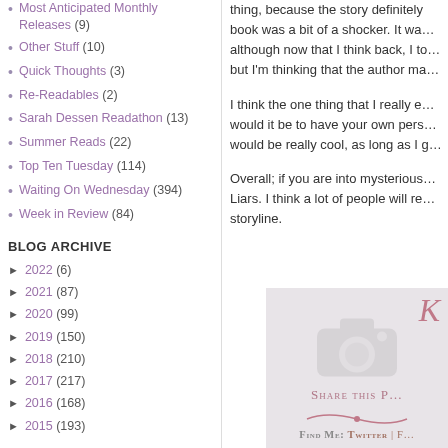Most Anticipated Monthly Releases (9)
Other Stuff (10)
Quick Thoughts (3)
Re-Readables (2)
Sarah Dessen Readathon (13)
Summer Reads (22)
Top Ten Tuesday (114)
Waiting On Wednesday (394)
Week in Review (84)
BLOG ARCHIVE
► 2022 (6)
► 2021 (87)
► 2020 (99)
► 2019 (150)
► 2018 (210)
► 2017 (217)
► 2016 (168)
► 2015 (193)
thing, because the story definitely... book was a bit of a shocker. It wa... although now that I think back, I to... but I'm thinking that the author ma...
I think the one thing that I really e... would it be to have your own pers... would be really cool, as long as I g...
Overall; if you are into mysterious... Liars. I think a lot of people will re... storyline.
[Figure (illustration): Share This Post widget with cursive letter H, camera icon watermark, 'Share This P...' text, decorative divider, and 'Find Me: Twitter | F...' social links]